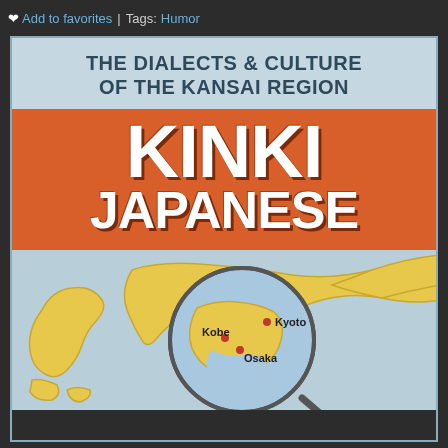❤ Add to favorites | Tags: Humor
[Figure (illustration): Book cover for 'Kinki Japanese: The Dialects & Culture of the Kansai Region'. Features large bold white text on an orange/red banner, with a map of Japan below showing a magnified circle highlighting the Kansai region with cities Kobe, Kyoto, and Osaka marked.]
THE DIALECTS & CULTURE OF THE KANSAI REGION
KINKI JAPANESE